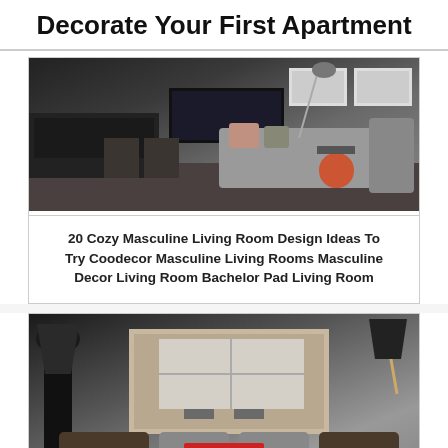Decorate Your First Apartment
[Figure (photo): Modern masculine living room with gray sectional sofa, orange accent table, leather chairs, TV unit, and framed artwork]
20 Cozy Masculine Living Room Design Ideas To Try Coodecor Masculine Living Rooms Masculine Decor Living Room Bachelor Pad Living Room
[Figure (photo): Stylish living room with dark floor lamp, decorative pillows, large wall artwork, and accent floor lamp with dark shade]